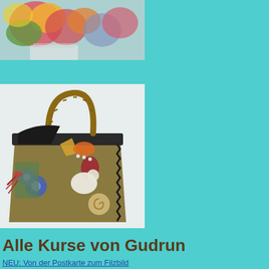[Figure (photo): Partial photo of colorful textile/floral arrangement at top left, cropped]
[Figure (photo): Photo of a decorative handmade felt bag with colorful floral and animal appliqués, bamboo handle, on white background]
Alle Kurse von Gudrun
NEU: Von der Postkarte zum Filzbild
low Stitch, Bunt gefärbt im Einkochglas und handgenäht